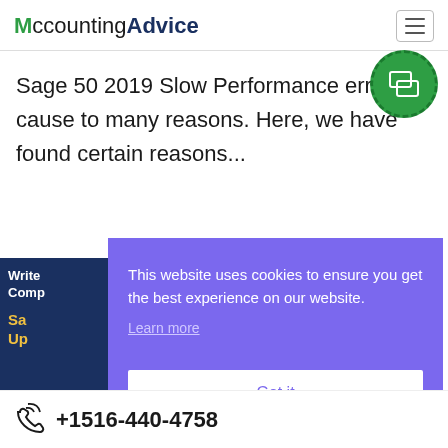AccountingAdvice
Sage 50 2019 Slow Performance error cause to many reasons. Here, we have found certain reasons...
[Figure (screenshot): Cookie consent overlay on purple background with text 'This website uses cookies to ensure you get the best experience on our website.' with 'Learn more' link and 'Got it' button]
Sage 50 Keeps Asking to Update: How to Fix
+1516-440-4758